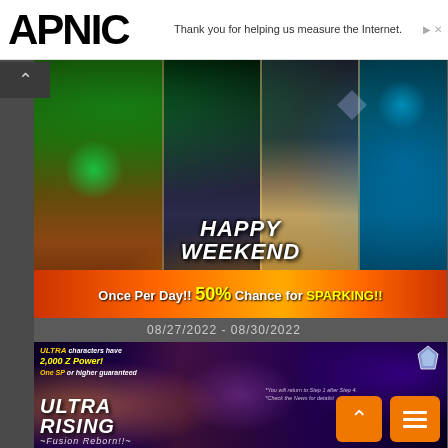APNIC
Thank you for helping us measure the Internet.
[Figure (screenshot): Dragon Ball Legends Happy Weekend game banner showing anime characters (Broly, Goku, Vegeta, SSGSS Vegeta) with text 'HAPPY WEEKEND' and 'Once Per Day!! 50% Chance for SPARKING!!']
08/27/2022 - 08/30/2022
[Figure (screenshot): Dragon Ball Legends Ultra Rising Fusion Reborn!! summon banner showing anime characters with text about ULTRA characters having 2,000 Z Power, One SP or higher guaranteed, and fine print about returning to Step 1 after Step 4]